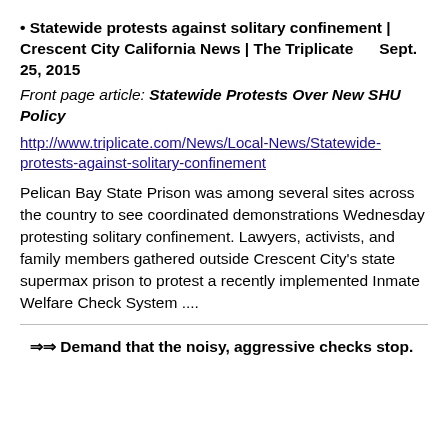• Statewide protests against solitary confinement | Crescent City California News | The Triplicate    Sept. 25, 2015
Front page article: Statewide Protests Over New SHU Policy
http://www.triplicate.com/News/Local-News/Statewide-protests-against-solitary-confinement
Pelican Bay State Prison was among several sites across the country to see coordinated demonstrations Wednesday protesting solitary confinement. Lawyers, activists, and family members gathered outside Crescent City's state supermax prison to protest a recently implemented Inmate Welfare Check System ....
⇒⇒ Demand that the noisy, aggressive checks stop.